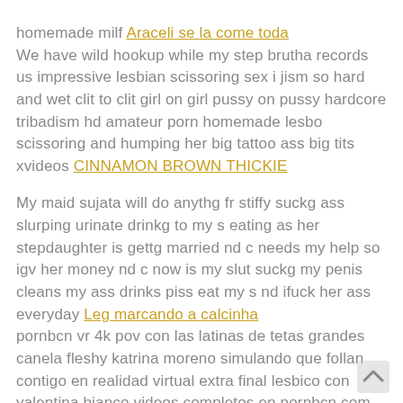homemade milf Araceli se la come toda We have wild hookup while my step brutha records us impressive lesbian scissoring sex i jism so hard and wet clit to clit girl on girl pussy on pussy hardcore tribadism hd amateur porn homemade lesbo scissoring and humping her big tattoo ass big tits xvideos CINNAMON BROWN THICKIE My maid sujata will do anythg fr stiffy suckg ass slurping urinate drinkg to my s eating as her stepdaughter is gettg married nd c needs my help so igv her money nd c now is my slut suckg my penis cleans my ass drinks piss eat my s nd ifuck her ass everyday Leg marcando a calcinha pornbcn vr 4k pov con las latinas de tetas grandes canela fleshy katrina moreno simulando que follan contigo en realidad virtual extra final lesbico con valentina bianco videos completos en pornbcn com realidad virtual latina latinas pornography espa and ntild Catya Rabuda disponivel